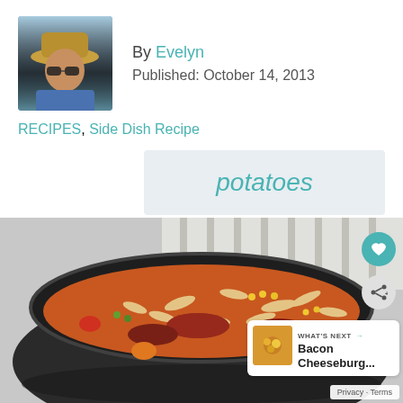By Evelyn
Published: October 14, 2013
RECIPES, Side Dish Recipe
potatoes
[Figure (photo): A dark bowl filled with soup containing rotini pasta, sliced sausage, corn, peas, tomatoes, and other vegetables in a tomato broth. Social sharing buttons (heart and share) are overlaid on the right side. A 'What's Next' card showing 'Bacon Cheeseburg...' is in the bottom right corner.]